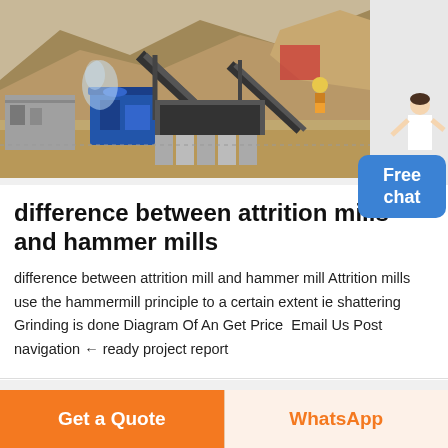[Figure (photo): Mining/quarry site with industrial machinery, conveyor belts, blue crusher equipment, rocky hillside in the background, worker visible on right side]
difference between attrition mills and hammer mills
difference between attrition mill and hammer mill Attrition mills use the hammermill principle to a certain extent ie shattering Grinding is done Diagram Of An Get Price Email Us Post navigation ← ready project report